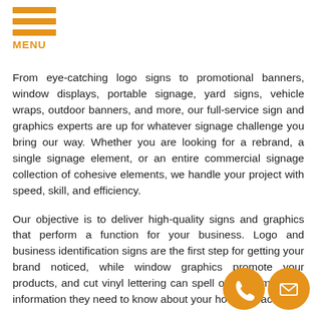MENU
From eye-catching logo signs to promotional banners, window displays, portable signage, yard signs, vehicle wraps, outdoor banners, and more, our full-service sign and graphics experts are up for whatever signage challenge you bring our way. Whether you are looking for a rebrand, a single signage element, or an entire commercial signage collection of cohesive elements, we handle your project with speed, skill, and efficiency.
Our objective is to deliver high-quality signs and graphics that perform a function for your business. Logo and business identification signs are the first step for getting your brand noticed, while window graphics promote your products, and cut vinyl lettering can spell out any important information they need to know about your hours or facility.
By utilizing your branding guidelines, colors, fonts, logos, and unique marketing messages through our brand graphic components, we create consistency and repetition